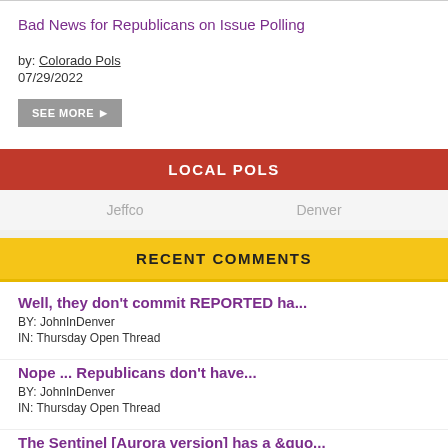Bad News for Republicans on Issue Polling
by: Colorado Pols
07/29/2022
SEE MORE
LOCAL POLS
Jeffco   Denver
RECENT COMMENTS
Well, they don't commit REPORTED ha...
BY: JohnInDenver
IN: Thursday Open Thread
Nope ... Republicans don't have...
BY: JohnInDenver
IN: Thursday Open Thread
The Sentinel [Aurora version] has a &quo...
BY: JohnInDenver